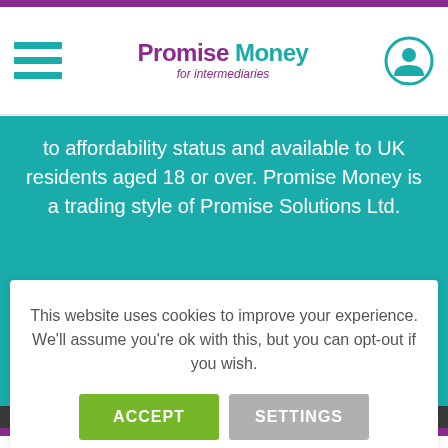Promise Money for intermediaries
to affordability status and available to UK residents aged 18 or over. Promise Money is a trading style of Promise Solutions Ltd.
This website uses cookies to improve your experience. We'll assume you're ok with this, but you can opt-out if you wish.
ACCEPT   SETTINGS
View our Data Protection and Privacy Policy